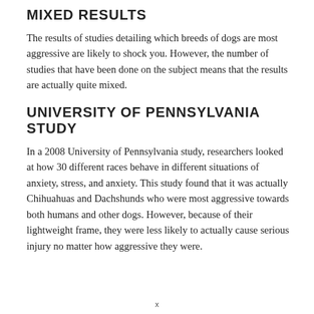MIXED RESULTS
The results of studies detailing which breeds of dogs are most aggressive are likely to shock you. However, the number of studies that have been done on the subject means that the results are actually quite mixed.
UNIVERSITY OF PENNSYLVANIA STUDY
In a 2008 University of Pennsylvania study, researchers looked at how 30 different races behave in different situations of anxiety, stress, and anxiety. This study found that it was actually Chihuahuas and Dachshunds who were most aggressive towards both humans and other dogs. However, because of their lightweight frame, they were less likely to actually cause serious injury no matter how aggressive they were.
x